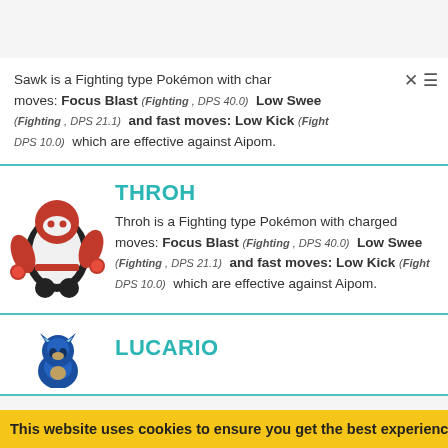Sawk is a Fighting type Pokémon with charged moves: Focus Blast (Fighting , DPS 40.0) Low Sweep (Fighting , DPS 21.1) and fast moves: Low Kick (Fighting , DPS 10.0) which are effective against Aipom.
THROH
Throh is a Fighting type Pokémon with charged moves: Focus Blast (Fighting , DPS 40.0) Low Sweep (Fighting , DPS 21.1) and fast moves: Low Kick (Fighting , DPS 10.0) which are effective against Aipom.
LUCARIO
This website uses cookies to ensure you get the best experience on ou